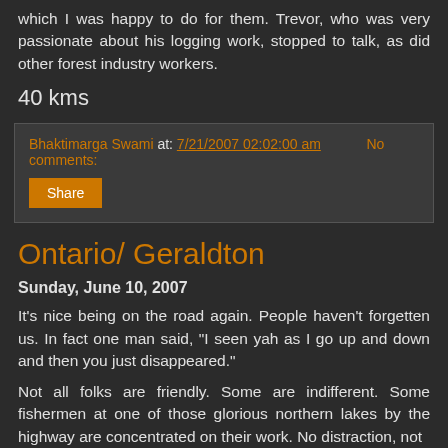which I was happy to do for them. Trevor, who was very passionate about his logging work, stopped to talk, as did other forest industry workers.
40 kms
Bhaktimarga Swami at: 7/21/2007 02:02:00 am   No comments:
Share
Ontario/ Geraldton
Sunday, June 10, 2007
It's nice being on the road again. People haven't forgetten us. In fact one man said, "I seen yah as I go up and down and then you just disappeared."
Not all folks are friendly. Some are indifferent. Some fishermen at one of those glorious northern lakes by the highway are concentrated on their work. No distraction, not